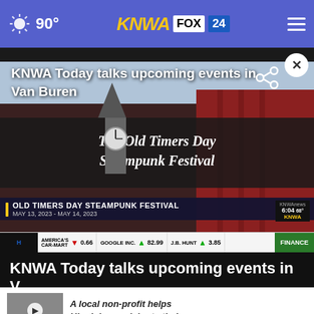90° KNWA FOX 24
[Figure (screenshot): Video screenshot showing The Old Timers Day Steampunk Festival banner with lower third graphic: OLD TIMERS DAY STEAMPUNK FESTIVAL, MAY 13, 2023 - MAY 14, 2023, and stock ticker bar showing AMERICA'S CAR-MART 0.66, GOOGLE INC. 82.99, J.B. HUNT 3.85, FINANCE]
KNWA Today talks upcoming events in Van Buren
KNWA Today talks upcoming events in V...
A local non-profit helps Ukrainians celebrate their ...